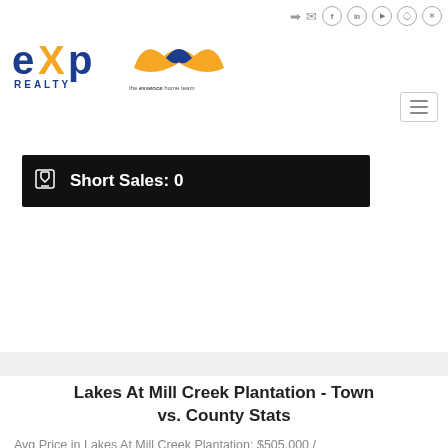[Figure (logo): eXp Realty logo and The Essence Home Team logo in top navigation bar]
Short Sales: 0
Lakes At Mill Creek Plantation - Town vs. County Stats
Avg Price in Lakes At Mill Creek Plantation: $505,000 / County Avg $826,600
31%
Avg Sq. Ft. in Lakes At Mill Creek Plantation: 1,902 / County Avg?